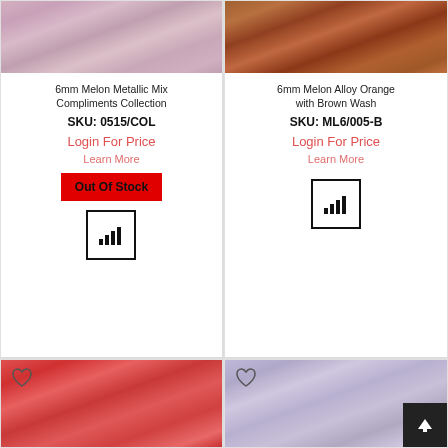[Figure (photo): Pink/mauve melon metallic mix glass beads close-up, top portion of product card 1]
6mm Melon Metallic Mix Compliments Collection
SKU: 0515/COL
Login For Price
Learn More
Out Of Stock
[Figure (infographic): Bar chart icon in a square border]
[Figure (photo): Brown/orange melon alloy glass beads close-up, top portion of product card 2]
6mm Melon Alloy Orange with Brown Wash
SKU: ML6/005-B
Login For Price
Learn More
[Figure (infographic): Bar chart icon in a square border]
[Figure (photo): Red/coral melon glass beads close-up, bottom left product card, with heart icon]
[Figure (photo): Clear/mauve melon glass beads close-up, bottom right product card, with heart icon and scroll-to-top button]